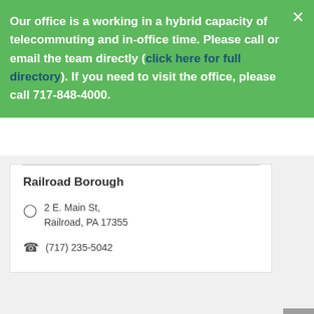Our office is a working in a hybrid capacity of telecommuting and in-office time. Please call or email the team directly (click here for full directory). If you need to visit the office, please call 717-848-4000.
Railroad Borough
2 E. Main St, Railroad, PA 17355
(717) 235-5042